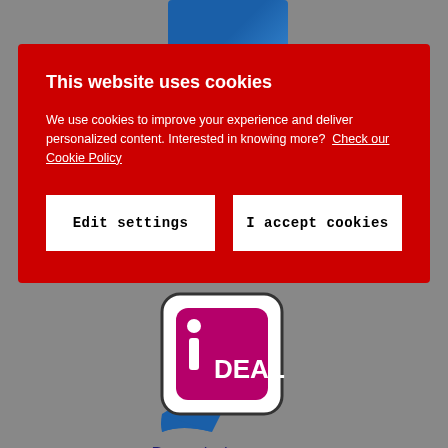[Figure (screenshot): Blue card/panel partially visible at top behind cookie modal]
This website uses cookies
We use cookies to improve your experience and deliver personalized content. Interested in knowing more?  Check our Cookie Policy
Edit settings
I accept cookies
[Figure (logo): Diners Club International logo]
[Figure (logo): Bancontact payment logo with blue and yellow swoosh]
[Figure (logo): iDEAL payment logo - pink/magenta D shape with white text DEAL]